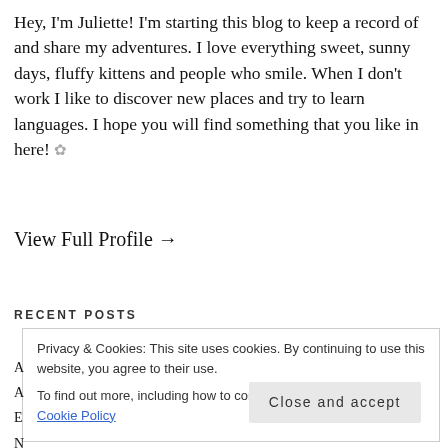Hey, I'm Juliette! I'm starting this blog to keep a record of and share my adventures. I love everything sweet, sunny days, fluffy kittens and people who smile. When I don't work I like to discover new places and try to learn languages. I hope you will find something that you like in here! ✿
View Full Profile →
RECENT POSTS
Privacy & Cookies: This site uses cookies. By continuing to use this website, you agree to their use. To find out more, including how to control cookies, see here: Cookie Policy
Close and accept